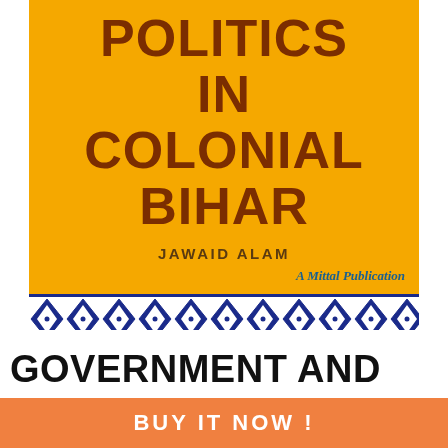[Figure (photo): Book cover of 'Politics in Colonial Bihar' by Jawaid Alam, a Mittal Publication. Orange/yellow background with title in dark brown bold text, author name centered, publisher name in italic blue-green. Two decorative bands: one with blue and white diamond/geometric pattern, one with brown scroll/wave pattern on white.]
GOVERNMENT AND
BUY IT NOW !